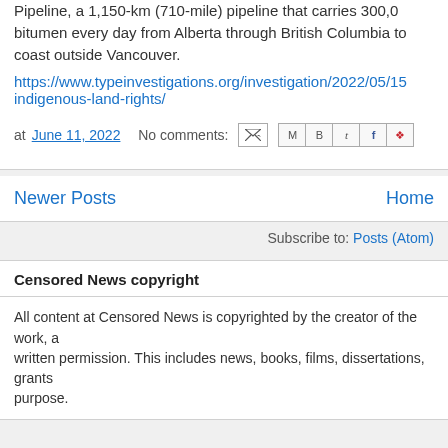Pipeline, a 1,150-km (710-mile) pipeline that carries 300,000 bitumen every day from Alberta through British Columbia to coast outside Vancouver.
https://www.typeinvestigations.org/investigation/2022/05/15 indigenous-land-rights/
at June 11, 2022   No comments:
Newer Posts
Home
Subscribe to: Posts (Atom)
Censored News copyright
All content at Censored News is copyrighted by the creator of the work, a written permission. This includes news, books, films, dissertations, grants purpose.